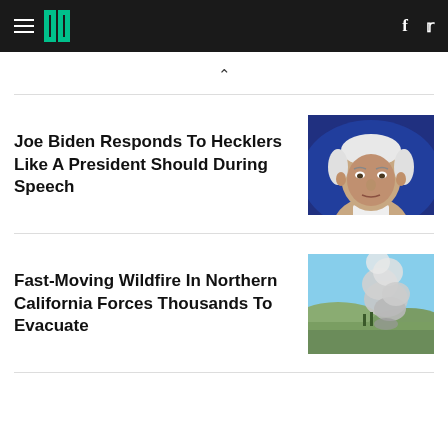HuffPost navigation bar with logo, hamburger menu, Facebook and Twitter icons
^
Joe Biden Responds To Hecklers Like A President Should During Speech
[Figure (photo): Photo of Joe Biden, older man with white hair against a dark blue background]
Fast-Moving Wildfire In Northern California Forces Thousands To Evacuate
[Figure (photo): Photo of a wildfire smoke plume rising over Northern California landscape with blue sky]